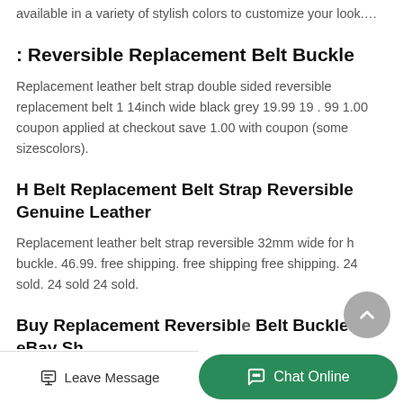available in a variety of stylish colors to customize your look....
: Reversible Replacement Belt Buckle
Replacement leather belt strap double sided reversible replacement belt 1 14inch wide black grey 19.99 19 . 99 1.00 coupon applied at checkout save 1.00 with coupon (some sizescolors).
H Belt Replacement Belt Strap Reversible Genuine Leather
Replacement leather belt strap reversible 32mm wide for h buckle. 46.99. free shipping. free shipping free shipping. 24 sold. 24 sold 24 sold.
Buy Replacement Reversible Belt Buckle | eBay Sh...